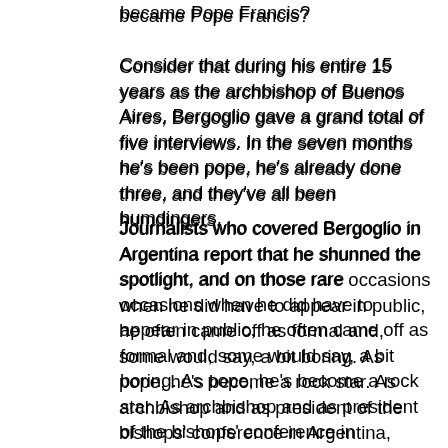became Pope Francis?
Consider that during his entire 15 years as the archbishop of Buenos Aires, Bergoglio gave a grand total of five interviews. In the seven months he's been pope, he's already done three, and they've all been humdingers.
Journalists who covered Bergoglio in Argentina report that he shunned the spotlight, and on those rare occasions when he did have to appear in public, he often came off as formal and, some would say, a bit boring. As pope, he's become a rock star. As archbishop and as president of the bishops' conference in Argentina, Bergoglio was careful and measured in his public declarations, while as pope he's letting it all hang out.
Back in April, I interviewed his sister, Maria Elena Bergoglio, and even she told me that something was different about her brother since he took over the church's top job.
Because the courage of his convictions